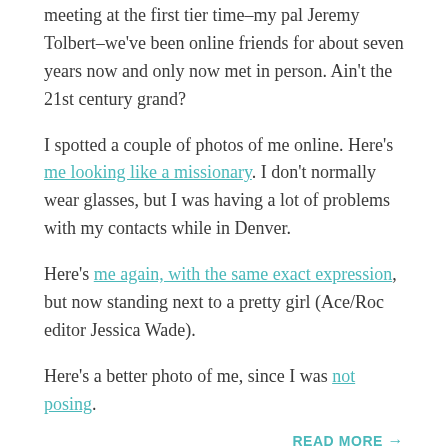meeting at the first tier time–my pal Jeremy Tolbert–we've been online friends for about seven years now and only now met in person. Ain't the 21st century grand?
I spotted a couple of photos of me online. Here's me looking like a missionary. I don't normally wear glasses, but I was having a lot of problems with my contacts while in Denver.
Here's me again, with the same exact expression, but now standing next to a pretty girl (Ace/Roc editor Jessica Wade).
Here's a better photo of me, since I was not posing.
READ MORE →
AUGUST 18, 2008    UNCATEGORIZED